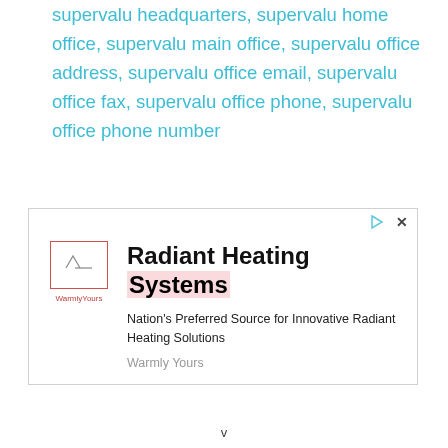supervalu headquarters, supervalu home office, supervalu main office, supervalu office address, supervalu office email, supervalu office fax, supervalu office phone, supervalu office phone number
[Figure (other): Advertisement for Radiant Heating Systems by Warmly Yours. Shows logo, bold headline 'Radiant Heating Systems' with pink highlight, and tagline 'Nation's Preferred Source for Innovative Radiant Heating Solutions'. Bottom shows 'Warmly Yours' brand name.]
v